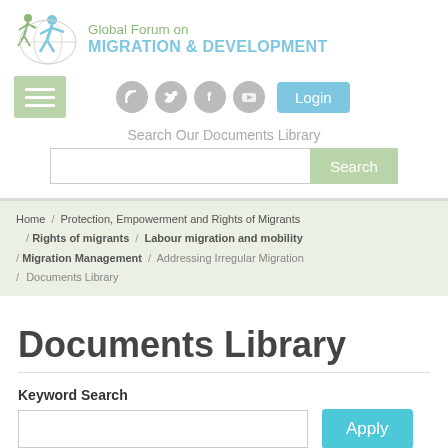[Figure (logo): Global Forum on Migration & Development logo with stylized human figures and text]
[Figure (screenshot): Social media icons (RSS, Twitter, Facebook, YouTube) and Login button]
Search Our Documents Library
Search
Home / Protection, Empowerment and Rights of Migrants / Rights of migrants / Labour migration and mobility / Migration Management / Addressing Irregular Migration / Documents Library
Documents Library
Keyword Search
Apply